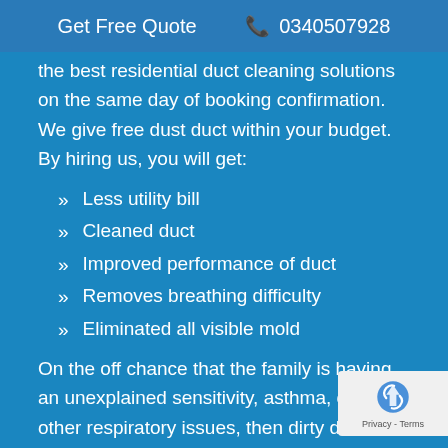Get Free Quote  0340507928
the best residential duct cleaning solutions on the same day of booking confirmation. We give free dust duct within your budget. By hiring us, you will get:
Less utility bill
Cleaned duct
Improved performance of duct
Removes breathing difficulty
Eliminated all visible mold
On the off chance that the family is having an unexplained sensitivity, asthma, or some other respiratory issues, then dirty ducts of your HVAC framework might be the reason. On the off chance that air flowing through your home is debased